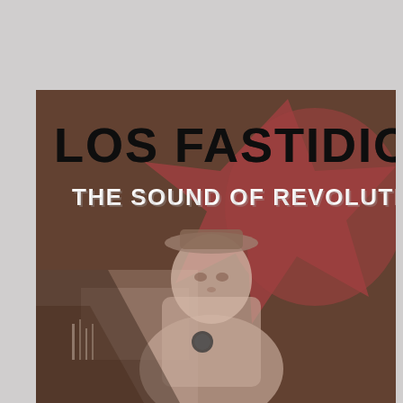[Figure (illustration): Album cover for Los Fastidios - The Sound of Revolution. Dark brown/sepia toned background with a large reddish-brown star shape. Bold distressed black text reads 'LOS FASTIDIOS' at top, white distressed text reads 'THE SOUND OF REVOLUTION' below. A sepia-toned figure of a young man in military-style cap is depicted in the center-lower portion of the cover.]